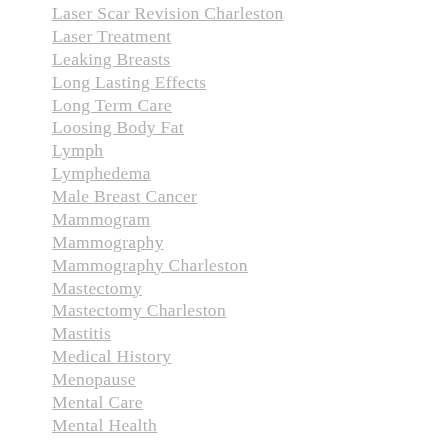Laser Scar Revision Charleston
Laser Treatment
Leaking Breasts
Long Lasting Effects
Long Term Care
Loosing Body Fat
Lymph
Lymphedema
Male Breast Cancer
Mammogram
Mammography
Mammography Charleston
Mastectomy
Mastectomy Charleston
Mastitis
Medical History
Menopause
Mental Care
Mental Health